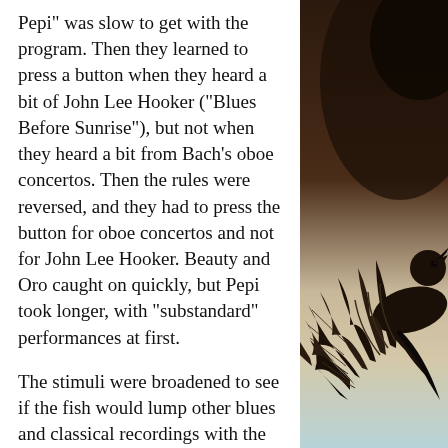Pepi” was slow to get with the program. Then they learned to press a button when they heard a bit of John Lee Hooker (“Blues Before Sunrise”), but not when they heard a bit from Bach’s oboe concertos. Then the rules were reversed, and they had to press the button for oboe concertos and not for John Lee Hooker. Beauty and Oro caught on quickly, but Pepi took longer, with “substandard” performances at first.
The stimuli were broadened to see if the fish would lump other blues and classical recordings with the ones they’d already heard—would they treat Muddy
[Figure (illustration): Partial illustration of a bird (appears to be a crow or similar dark bird) with spread wings, rendered in a Japanese woodblock print style, set against a background transitioning from dark brown at top to light blue/cream at bottom.]